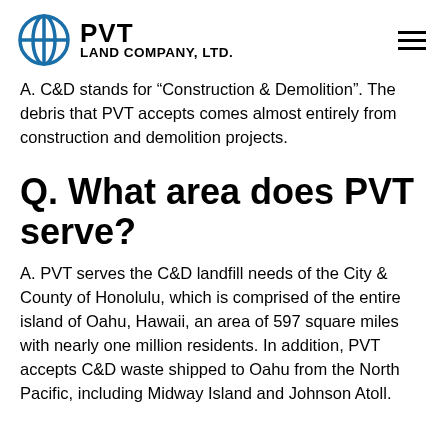PVT LAND COMPANY, LTD.
A. C&D stands for "Construction & Demolition". The debris that PVT accepts comes almost entirely from construction and demolition projects.
Q. What area does PVT serve?
A. PVT serves the C&D landfill needs of the City & County of Honolulu, which is comprised of the entire island of Oahu, Hawaii, an area of 597 square miles with nearly one million residents. In addition, PVT accepts C&D waste shipped to Oahu from the North Pacific, including Midway Island and Johnson Atoll.